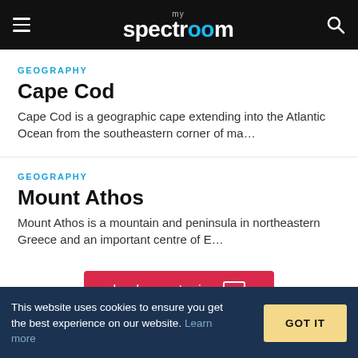my spectroom
GEOGRAPHY
Cape Cod
Cape Cod is a geographic cape extending into the Atlantic Ocean from the southeastern corner of ma...
GEOGRAPHY
Mount Athos
Mount Athos is a mountain and peninsula in northeastern Greece and an important centre of E...
load more topics
This website uses cookies to ensure you get the best experience on our website. Learn more
GOT IT